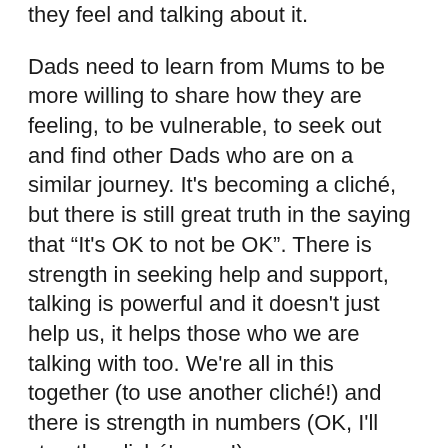they feel and talking about it.
Dads need to learn from Mums to be more willing to share how they are feeling, to be vulnerable, to seek out and find other Dads who are on a similar journey. It's becoming a cliché, but there is still great truth in the saying that “It's OK to not be OK”. There is strength in seeking help and support, talking is powerful and it doesn't just help us, it helps those who we are talking with too. We're all in this together (to use another cliché!) and there is strength in numbers (OK, I'll stop the cliché's now!)
There is support out there for Dads, places to engage as much or as little as you like. I've previously written and recorded resources for